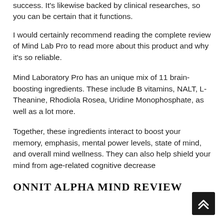success. It's likewise backed by clinical researches, so you can be certain that it functions.
I would certainly recommend reading the complete review of Mind Lab Pro to read more about this product and why it's so reliable.
Mind Laboratory Pro has an unique mix of 11 brain-boosting ingredients. These include B vitamins, NALT, L-Theanine, Rhodiola Rosea, Uridine Monophosphate, as well as a lot more.
Together, these ingredients interact to boost your memory, emphasis, mental power levels, state of mind, and overall mind wellness. They can also help shield your mind from age-related cognitive decrease
ONNIT ALPHA MIND REVIEW